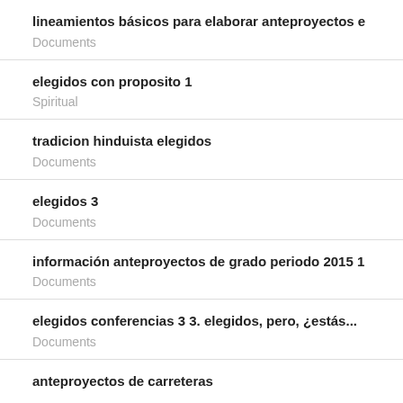lineamientos básicos para elaborar anteproyectos e
Documents
elegidos con proposito 1
Spiritual
tradicion hinduista elegidos
Documents
elegidos 3
Documents
información anteproyectos de grado periodo 2015 1
Documents
elegidos conferencias 3 3. elegidos, pero, ¿estás...
Documents
anteproyectos de carreteras